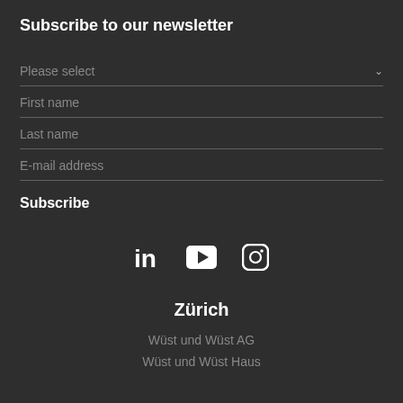Subscribe to our newsletter
Please select
First name
Last name
E-mail address
Subscribe
[Figure (infographic): Social media icons: LinkedIn, YouTube, Instagram]
Zürich
Wüst und Wüst AG
Wüst und Wüst Haus